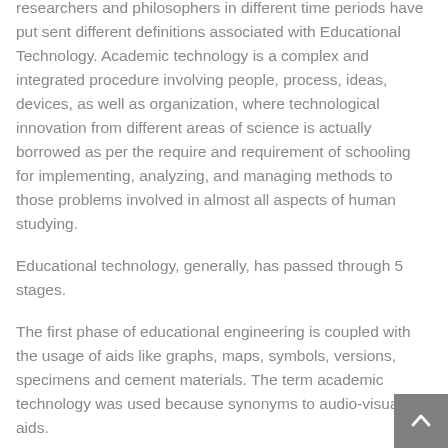researchers and philosophers in different time periods have put sent different definitions associated with Educational Technology. Academic technology is a complex and integrated procedure involving people, process, ideas, devices, as well as organization, where technological innovation from different areas of science is actually borrowed as per the require and requirement of schooling for implementing, analyzing, and managing methods to those problems involved in almost all aspects of human studying.
Educational technology, generally, has passed through 5 stages.
The first phase of educational engineering is coupled with the usage of aids like graphs, maps, symbols, versions, specimens and cement materials. The term academic technology was used because synonyms to audio-visual aids.
The second period of educational technological know-how is associated with the 'electronic revolution' with the intro and